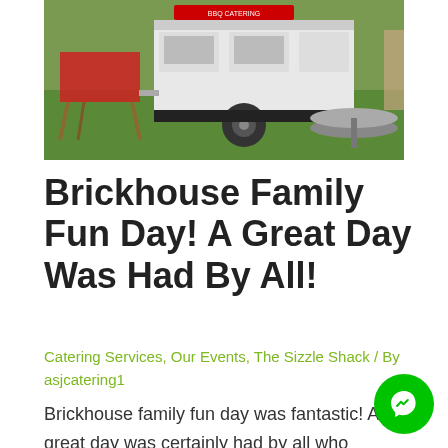[Figure (photo): Outdoor catering setup with a white trailer/BBQ unit on grass, a folding table with red tablecloth on the left, and a round checkered table on the right.]
Brickhouse Family Fun Day! A Great Day Was Had By All!
Catering Services, Our Events, The Sizzle Shack / By asjcatering1
Brickhouse family fun day was fantastic! A great day was certainly had by all who attended, there was a great turnout and the weather stayed nice and dry